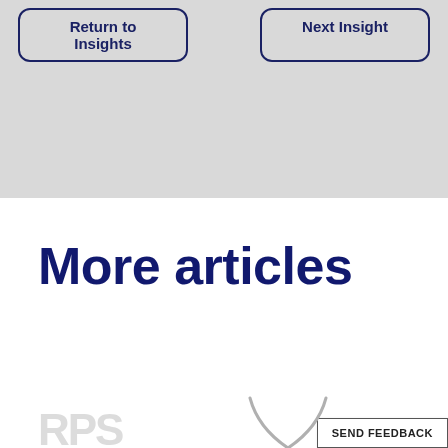Return to Insights | Next Insight
More articles
SEND FEEDBACK